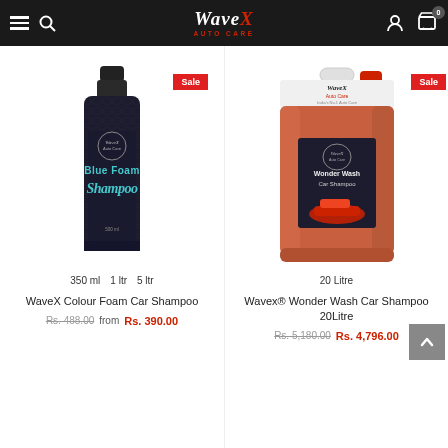WaveX Auto Care — navigation header with logo, search, account, and cart icons
[Figure (photo): WaveX Blue Foam Car Shampoo 350ml bottle — dark bottle with teal and white label showing 'Blue Foam Shampoo' text. Sale badge in top right. Size options: 350 ml, 1 ltr, 5 ltr.]
350 ml   1 ltr   5 ltr
WaveX Colour Foam Car Shampoo
Rs. 488.00  from  Rs. 390.00
[Figure (photo): Wavex Wonder Wash Car Shampoo 20 Litre — large orange/salmon coloured jerry can container with WaveX branding and product label showing a red car. Sale badge in top right.]
20 Litre
Wavex® Wonder Wash Car Shampoo 20Litre
Rs. 5,180.00  Rs. 4,796.00